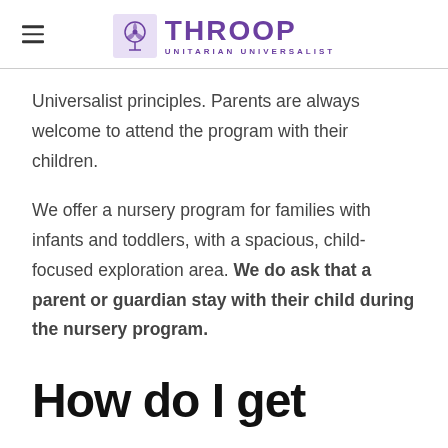THROOP UNITARIAN UNIVERSALIST
Universalist principles. Parents are always welcome to attend the program with their children.
We offer a nursery program for families with infants and toddlers, with a spacious, child-focused exploration area. We do ask that a parent or guardian stay with their child during the nursery program.
How do I get